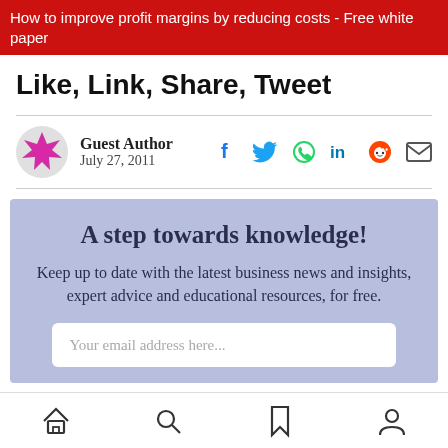How to improve profit margins by reducing costs - Free white paper
Like, Link, Share, Tweet
Guest Author
July 27, 2011
[Figure (infographic): Promotional signup box with light blue/purple background. Heading: 'A step towards knowledge!' Body text: 'Keep up to date with the latest business news and insights, expert advice and educational resources, for free.' Email input placeholder: 'Your email address here...']
Home | Search | Bookmark | Profile navigation icons